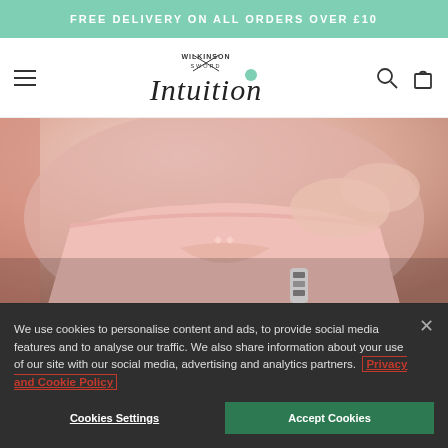FREE DELIVERY ON ALL ORDERS OVER £10
[Figure (logo): Wilkinson Sword Intuition logo with mint green dot accent]
[Figure (photo): Close-up photo of a person in pink underwear using a white razor/hair removal device along the bikini line]
We use cookies to personalise content and ads, to provide social media features and to analyse our traffic. We also share information about your use of our site with our social media, advertising and analytics partners. Privacy and Cookie Policy
Cookies Settings
Accept Cookies